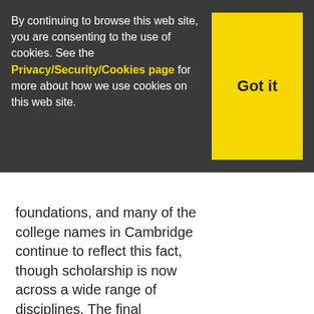By continuing to browse this web site, you are consenting to the use of cookies. See the Privacy/Security/Cookies page for more about how we use cookies on this web site.
Got it
foundations, and many of the college names in Cambridge continue to reflect this fact, though scholarship is now across a wide range of disciplines. The final identification of DNA and the discovery of the electron are amongst the great events which have taken place at the University of